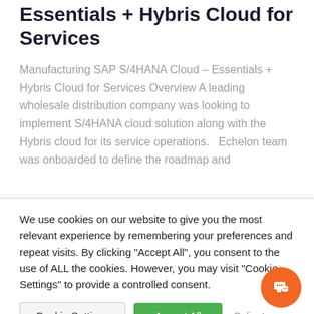SAP S/4HANA Cloud Essentials + Hybris Cloud for Services
Manufacturing SAP S/4HANA Cloud – Essentials + Hybris Cloud for Services Overview A leading wholesale distribution company was looking to implement S/4HANA cloud solution along with the Hybris cloud for its service operations.   Echelon team was onboarded to define the roadmap and
We use cookies on our website to give you the most relevant experience by remembering your preferences and repeat visits. By clicking "Accept All", you consent to the use of ALL the cookies. However, you may visit "Cookie Settings" to provide a controlled consent.
Cookie Settings | Accept All
English